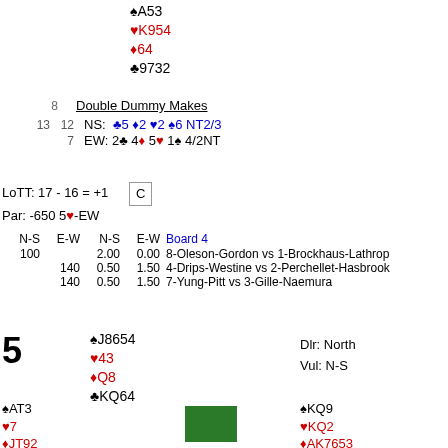North hand: ♠A53 ♥K954 ♦64 ♣9732
Double Dummy Makes
8
NS: ♣5 ♦2 ♥2 ♠6 NT2/3
13 12
7
EW: 2♣ 4♦ 5♥ 1♠ 4/2NT
LoTT: 17 - 16 = +1
Par: -650 5♥-EW
C
| N-S | E-W | N-S | E-W | Board 4 |
| --- | --- | --- | --- | --- |
| 100 |  | 2.00 | 0.00 | 8-Oleson-Gordon vs 1-Brockhaus-Lathrop |
|  | 140 | 0.50 | 1.50 | 4-Drips-Westine vs 2-Perchellet-Hasbrook |
|  | 140 | 0.50 | 1.50 | 7-Yung-Pitt vs 3-Gille-Naemura |
5  North hand: ♠J8654 ♥43 ♦Q8 ♣KQ64   Dlr: North  Vul: N-S
West: ♠AT3 ♥7 ♦JT92
East: ♠KQ9 ♥KQ2 ♦AK7653